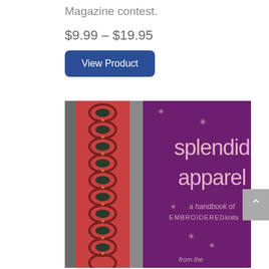Magazine contest.
$9.99 – $19.95
View Product
[Figure (photo): Book cover of 'Splendid Apparel: A Handbook of Embroidered Knits' showing decorative embroidered knit fabric on the left side and purple background with pink text on the right side. Text reads: splendid apparel, a handbook of EMBROIDERED knits, from the...]